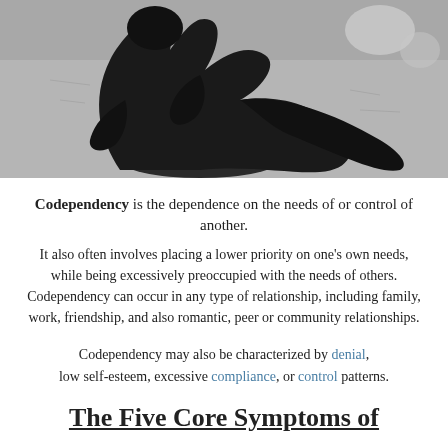[Figure (photo): Black and white photograph of two shadows cast on sand, appearing to show two figures with hands on hips.]
Codependency is the dependence on the needs of or control of another.
It also often involves placing a lower priority on one's own needs, while being excessively preoccupied with the needs of others. Codependency can occur in any type of relationship, including family, work, friendship, and also romantic, peer or community relationships.
Codependency may also be characterized by denial, low self-esteem, excessive compliance, or control patterns.
The Five Core Symptoms of